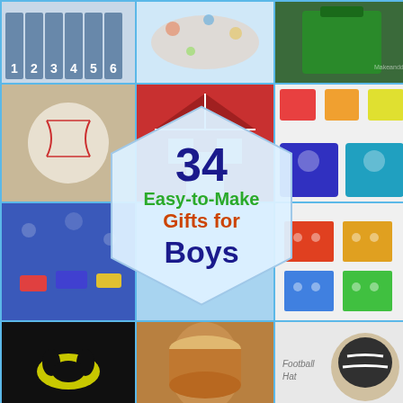[Figure (photo): Collage of 34 easy-to-make gifts for boys including numbered pockets, sports ball, red barn box, superhero items, car mat, lego-style items, Batman sweater, football hat, rolled craft item, and slime jar]
34 Easy-to-Make Gifts for Boys